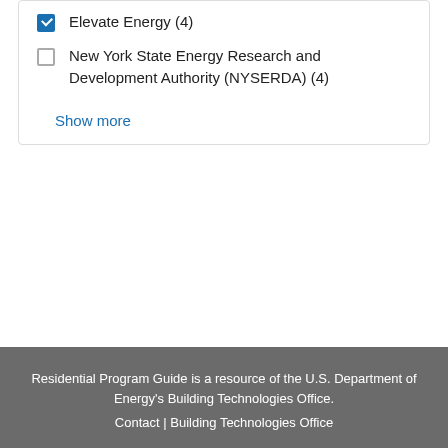Elevate Energy (4)
New York State Energy Research and Development Authority (NYSERDA) (4)
Show more
Residential Program Guide is a resource of the U.S. Department of Energy's Building Technologies Office.
Contact | Building Technologies Office